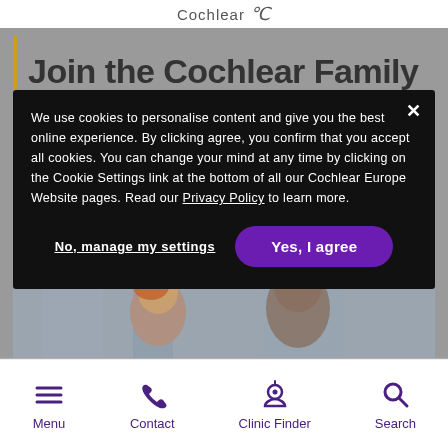Cochlear
Join the Cochlear Family
We use cookies to personalise content and give you the best online experience. By clicking agree, you confirm that you accept all cookies. You can change your mind at any time by clicking on the Cookie Settings link at the bottom of all our Cochlear Europe Website pages. Read our Privacy Policy to learn more.
No, manage my settings
Yes, I agree
[Figure (photo): Two people outdoors, a woman with red hair and a bald man, city background]
Menu  Contact  Clinic Finder  Search